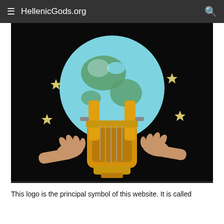≡ HellenicGods.org
[Figure (illustration): Illustration of hands playing a golden lyre (kithara) in front of a globe of the Earth set against a black starry sky with yellow stars.]
This logo is the principal symbol of this website. It is called